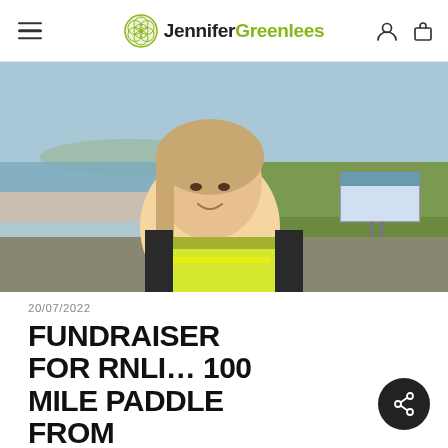Jennifer Greenlees
[Figure (photo): Woman wearing a hi-visibility yellow vest standing outdoors near a coastal area with a grassy bank and an information sign board. Blue sky and water visible in background.]
20/07/2022
FUNDRAISER FOR RNLI… 100 MILE PADDLE FROM